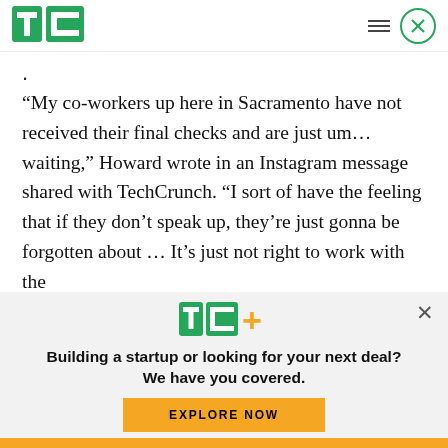[Figure (logo): TechCrunch TC logo in green, top left header]
.
“My co-workers up here in Sacramento have not received their final checks and are just um… waiting,” Howard wrote in an Instagram message shared with TechCrunch. “I sort of have the feeling that if they don’t speak up, they’re just gonna be forgotten about … It’s just not right to work with the
[Figure (logo): TC+ logo (TechCrunch plus) in green and orange, inside modal overlay]
Building a startup or looking for your next deal? We have you covered.
EXPLORE NOW